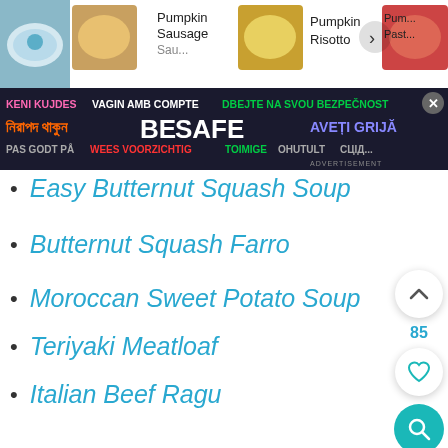[Figure (screenshot): Top navigation bar with recipe cards: Pumpkin Sausage (partial), Pumpkin Risotto, Pumpkin Pasta (partial) with food images]
[Figure (screenshot): BE SAFE multilingual advertisement banner with dark background, text in multiple languages and colors]
Easy Butternut Squash Soup
Butternut Squash Farro
Moroccan Sweet Potato Soup
Teriyaki Meatloaf
Italian Beef Ragu
other tasty pumpkin recipes:
Gluten-Free Oatmeal Pumpkin